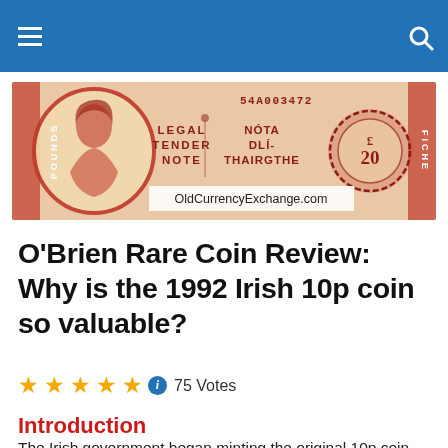[Figure (illustration): Irish £20 pound banknote banner image showing a portrait of a woman on the left, text reading 'LEGAL TENDER NOTE' and 'NÓTA DLÍ-THAIRGTHE', serial number 54A003472, and a £20 ornate rosette on the right. OldCurrencyExchange.com watermark at bottom center.]
O'Brien Rare Coin Review: Why is the 1992 Irish 10p coin so valuable?
75 Votes
Introduction
The Irish government began minting the original 10p coin